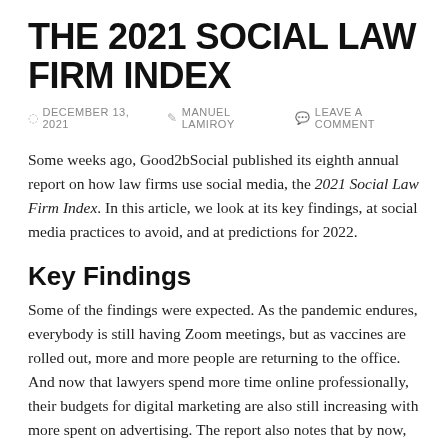THE 2021 SOCIAL LAW FIRM INDEX
DECEMBER 13, 2021   MANUEL LAMIROY   LEAVE A COMMENT
Some weeks ago, Good2bSocial published its eighth annual report on how law firms use social media, the 2021 Social Law Firm Index. In this article, we look at its key findings, at social media practices to avoid, and at predictions for 2022.
Key Findings
Some of the findings were expected. As the pandemic endures, everybody is still having Zoom meetings, but as vaccines are rolled out, more and more people are returning to the office. And now that lawyers spend more time online professionally, their budgets for digital marketing are also still increasing with more spent on advertising. The report also notes that by now, all the major law firms are on LinkedIn. Apart from that, there